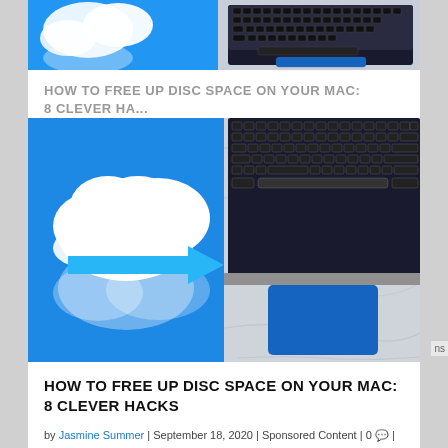[Figure (photo): Partial cropped image of cloud and laptop on marble surface (top card, cropped)]
HOW TO FREE UP DISC SPACE ON YOUR MAC: 8 CLEVER HA...
[Figure (photo): Split image: left side shows white cloud with arrow on blue sky background, right side shows laptop keyboard on marble surface]
HOW TO FREE UP DISC SPACE ON YOUR MAC: 8 CLEVER HACKS
by Jasmine Summer | September 18, 2020 | Sponsored Content | 0 💬 |
★★★★★ (5 stars rating)